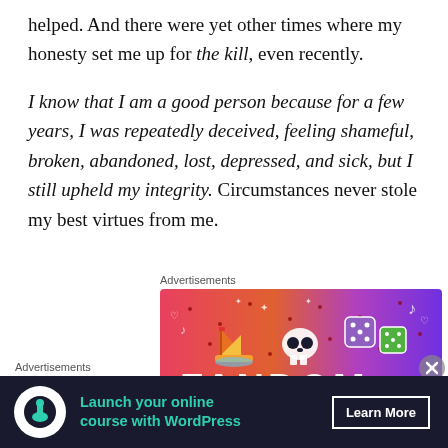helped. And there were yet other times where my honesty set me up for the kill, even recently.
I know that I am a good person because for a few years, I was repeatedly deceived, feeling shameful, broken, abandoned, lost, depressed, and sick, but I still upheld my integrity. Circumstances never stole my best virtues from me.
Advertisements
[Figure (illustration): Fandom advertisement banner with colorful gradient background (pink/orange to purple), featuring illustrated stickers including a sailboat, skull, dice, music notes, and other decorative elements. The word FANDOM is partially visible at the bottom.]
Advertisements
[Figure (infographic): WordPress advertisement on dark navy background with a white circle icon containing a tree/person silhouette, teal text reading 'Launch your online course with WordPress', and a white-bordered 'Learn More' button.]